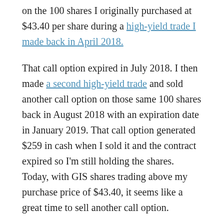on the 100 shares I originally purchased at $43.40 per share during a high-yield trade I made back in April 2018.
That call option expired in July 2018. I then made a second high-yield trade and sold another call option on those same 100 shares back in August 2018 with an expiration date in January 2019. That call option generated $259 in cash when I sold it and the contract expired so I'm still holding the shares. Today, with GIS shares trading above my purchase price of $43.40, it seems like a great time to sell another call option.
Every time you're able to sell an option like this, you generate additional income.
It's a great way to turn a stock's "normal" yield (if you rely on dividends alone) into a high-yielder.